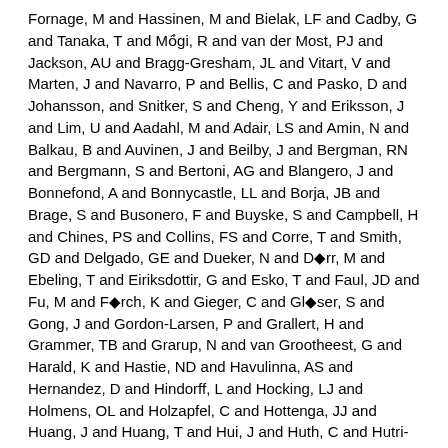Fornage, M and Hassinen, M and Bielak, LF and Cadby, G and Tanaka, T and Mögi, R and van der Most, PJ and Jackson, AU and Bragg-Gresham, JL and Vitart, V and Marten, J and Navarro, P and Bellis, C and Pasko, D and Johansson, and Snitker, S and Cheng, Y and Eriksson, J and Lim, U and Aadahl, M and Adair, LS and Amin, N and Balkau, B and Auvinen, J and Beilby, J and Bergman, RN and Bergmann, S and Bertoni, AG and Blangero, J and Bonnefond, A and Bonnycastle, LL and Borja, JB and Brage, S and Busonero, F and Buyske, S and Campbell, H and Chines, PS and Collins, FS and Corre, T and Smith, GD and Delgado, GE and Dueker, N and Dörr, M and Ebeling, T and Eiriksdottir, G and Esko, T and Faul, JD and Fu, M and Förch, K and Gieger, C and Glöser, S and Gong, J and Gordon-Larsen, P and Grallert, H and Grammer, TB and Grarup, N and van Grootheest, G and Harald, K and Hastie, ND and Havulinna, AS and Hernandez, D and Hindorff, L and Hocking, LJ and Holmens, OL and Holzapfel, C and Hottenga, JJ and Huang, J and Huang, T and Hui, J and Huth, C and Hutri-Kähönen, N and James, AL and Jansson, J and Jhun, MA and Juonala, M and Kinnunen, L and Koistinen, HA and Kolcic, I and Komulainen, P and Kuusisto, J and Kvaløy, K and Köhönen, M and Lakka, TA and Launer, LJ and Lehne, B and